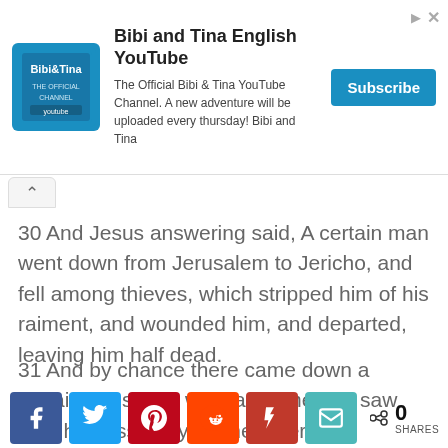[Figure (screenshot): YouTube channel ad banner for Bibi and Tina English YouTube channel with logo, description text, and Subscribe button]
30 And Jesus answering said, A certain man went down from Jerusalem to Jericho, and fell among thieves, which stripped him of his raiment, and wounded him, and departed, leaving him half dead.
31 And by chance there came down a certain priest that way: and when he saw him, he passed by on the other side.
[Figure (infographic): Social share buttons row: Facebook, Twitter, Pinterest, Reddit, Flipboard, Email, and share count showing 0 SHARES]